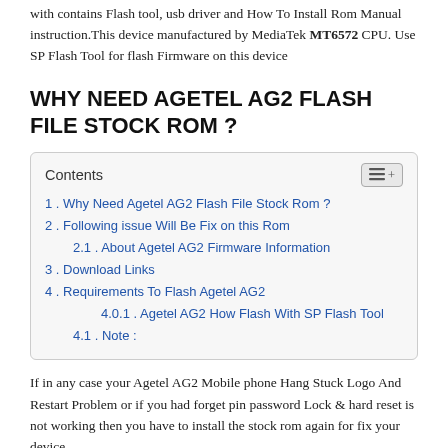with contains Flash tool, usb driver and How To Install Rom Manual instruction.This device manufactured by MediaTek MT6572 CPU. Use SP Flash Tool for flash Firmware on this device
WHY NEED AGETEL AG2 FLASH FILE STOCK ROM ?
| Contents |
| 1. Why Need Agetel AG2 Flash File Stock Rom ? |
| 2. Following issue Will Be Fix on this Rom |
| 2.1. About Agetel AG2 Firmware Information |
| 3. Download Links |
| 4. Requirements To Flash Agetel AG2 |
| 4.0.1. Agetel AG2 How Flash With SP Flash Tool |
| 4.1. Note : |
If in any case your Agetel AG2 Mobile phone Hang Stuck Logo And Restart Problem or if you had forget pin password Lock & hard reset is not working then you have to install the stock rom again for fix your device